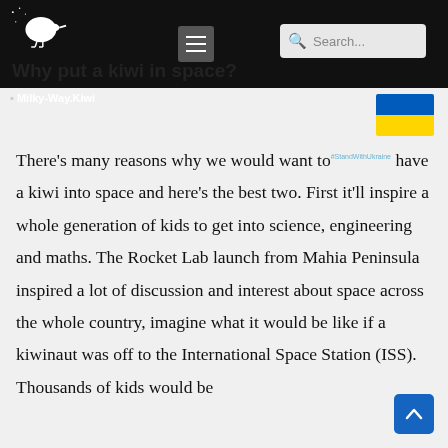Why put a kiwi in space? — Milky-Way.Kiwi
Why put a kiwi in space?
[Figure (illustration): Ukraine flag emoji]
There's many reasons why we would want to have a kiwi into space and here's the best two. First it'll inspire a whole generation of kids to get into science, engineering and maths. The Rocket Lab launch from Mahia Peninsula inspired a lot of discussion and interest about space across the whole country, imagine what it would be like if a kiwinaut was off to the International Space Station (ISS). Thousands of kids would be